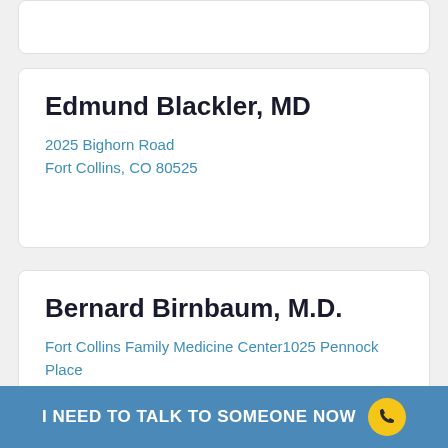Edmund Blackler, MD
2025 Bighorn Road
Fort Collins, CO 80525
Bernard Birnbaum, M.D.
Fort Collins Family Medicine Center1025 Pennock Place
Fort Collins, CO 80524
I NEED TO TALK TO SOMEONE NOW